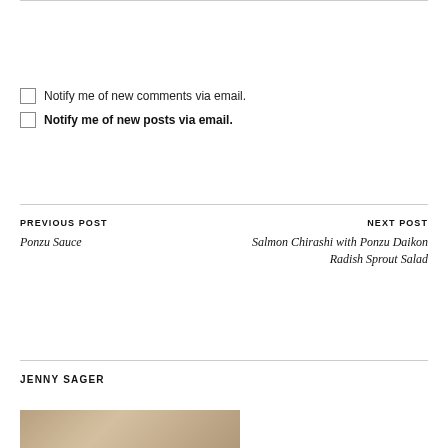Notify me of new comments via email.
Notify me of new posts via email.
PREVIOUS POST
Ponzu Sauce
NEXT POST
Salmon Chirashi with Ponzu Daikon Radish Sprout Salad
JENNY SAGER
[Figure (photo): Partial photo strip at bottom of page, showing a person or food image]